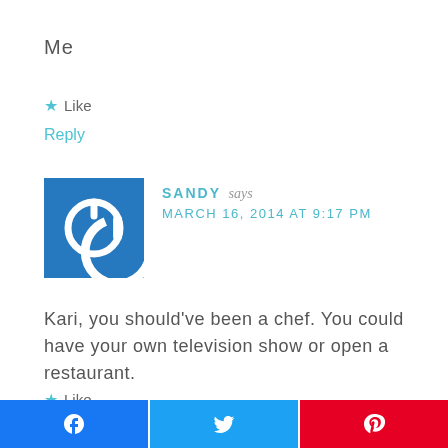Me
★ Like
Reply
[Figure (illustration): Blue square avatar with white power button icon]
SANDY says
MARCH 16, 2014 AT 9:17 PM
Kari, you should've been a chef. You could have your own television show or open a restaurant.
★ Like
[Figure (infographic): Share buttons: Facebook (blue), Twitter (light blue), Pinterest (red)]